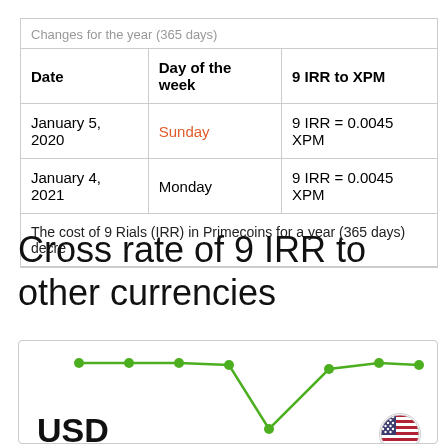| Date | Day of the week | 9 IRR to XPM |
| --- | --- | --- |
| January 5, 2020 | Sunday | 9 IRR = 0.0045 XPM |
| January 4, 2021 | Monday | 9 IRR = 0.0045 XPM |
| The cost of 9 Rials (IRR) in Primecoins for a year (365 days) decre |  |  |
Cross rate of 9 IRR to other currencies
[Figure (line-chart): Line chart showing cross rate of 9 IRR to USD over time, with a dip in the middle and recovery. Green line with circle markers.]
USD
United States Dollar